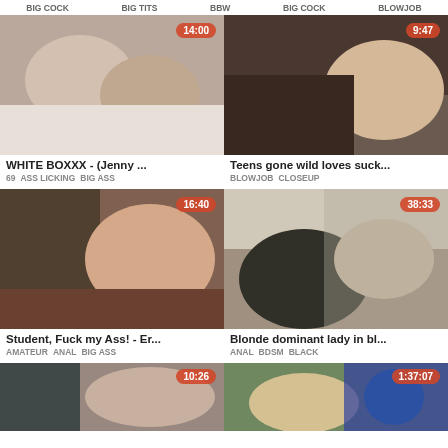BIG COCK  BIG TITS    BBW  BIG COCK  BLOWJOB
[Figure (photo): Video thumbnail with duration 14:00]
[Figure (photo): Video thumbnail with duration 9:47]
WHITE BOXXX - (Jenny ...
Teens gone wild loves suck...
69   ASS LICKING   BIG ASS
BLOWJOB   CLOSEUP
[Figure (photo): Video thumbnail with duration 16:40]
[Figure (photo): Video thumbnail with duration 38:33]
Student, Fuck my Ass! - Er...
Blonde dominant lady in bl...
AMATEUR   ANAL   BIG ASS
ANAL   BDSM   BLACK
[Figure (photo): Video thumbnail with duration 10:26]
[Figure (photo): Video thumbnail with duration 1:37:07]